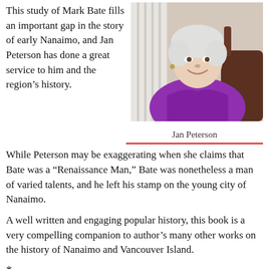This study of Mark Bate fills an important gap in the story of early Nanaimo, and Jan Peterson has done a great service to him and the region’s history.
[Figure (photo): Portrait photo of Jan Peterson, an older woman with short white hair wearing a purple/magenta jacket, seated indoors]
Jan Peterson
While Peterson may be exaggerating when she claims that Bate was a “Renaissance Man,” Bate was nonetheless a man of varied talents, and he left his stamp on the young city of Nanaimo.
A well written and engaging popular history, this book is a very compelling companion to author’s many other works on the history of Nanaimo and Vancouver Island.
*
John Hinde teaches history at Vancouver
[Figure (photo): Partial photo showing colorful image, bottom right of page, partially cut off]